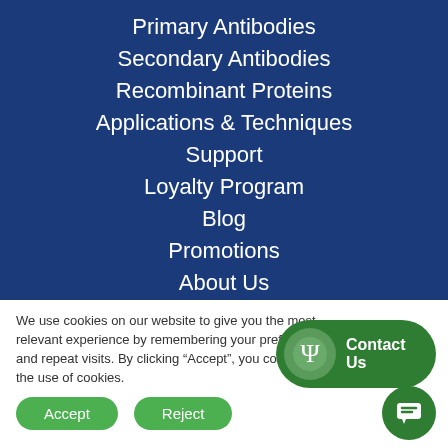Primary Antibodies
Secondary Antibodies
Recombinant Proteins
Applications & Techniques
Support
Loyalty Program
Blog
Promotions
About Us
We use cookies on our website to give you the most relevant experience by remembering your preferences and repeat visits. By clicking “Accept”, you consent to the use of cookies.
Accept
Reject
[Figure (other): Contact Us button with psi symbol icon on dark green rounded rectangle background]
[Figure (other): Chat/message icon on dark green circular button]